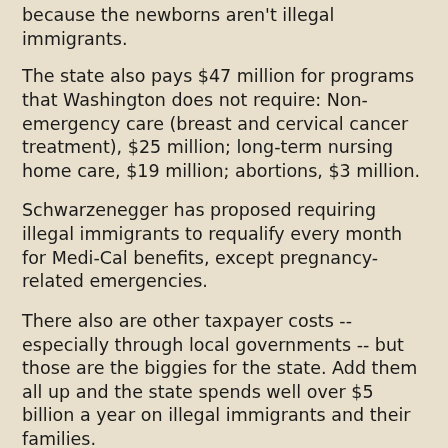because the newborns aren't illegal immigrants.
The state also pays $47 million for programs that Washington does not require: Non-emergency care (breast and cervical cancer treatment), $25 million; long-term nursing home care, $19 million; abortions, $3 million.
Schwarzenegger has proposed requiring illegal immigrants to requalify every month for Medi-Cal benefits, except pregnancy-related emergencies.
There also are other taxpayer costs -- especially through local governments -- but those are the biggies for the state. Add them all up and the state spends well over $5 billion a year on illegal immigrants and their families.
Of course, illegal immigrants do pay state taxes. But no way do they pay enough to replenish what they're drawing in services. Their main revenue contribution would be the sales tax, but they can't afford to be big consumers, and food and prescription drugs are exempt.